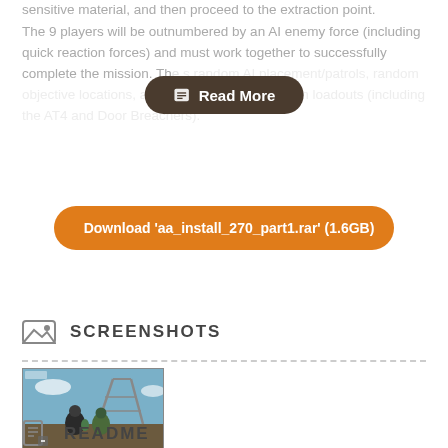sensitive material, and then proceed to the extraction point.
The 9 players will be outnumbered by an AI enemy force (including quick reaction forces) and must work together to successfully complete the mission. The [Read More overlay] es random AI placement/patrols, random objective locations, and various Ranger weapon loadouts (including the AT4 and Door Breachers).
Read More
Download 'aa_install_270_part1.rar' (1.6GB)
SCREENSHOTS
[Figure (screenshot): Screenshot of a video game showing two soldiers standing near a communications tower against a blue sky]
README